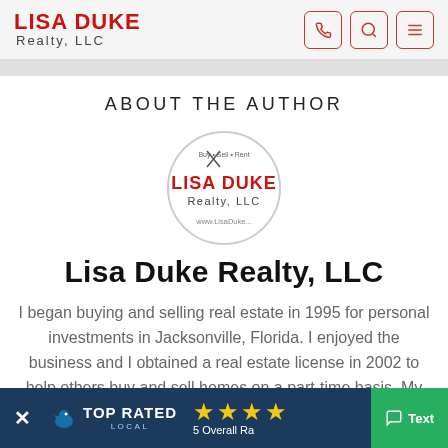LISA DUKE Realty, LLC
ABOUT THE AUTHOR
[Figure (logo): Lisa Duke Realty LLC circular logo with scissors and text Buy • Sell • Rent]
Lisa Duke Realty, LLC
I began buying and selling real estate in 1995 for personal investments in Jacksonville, Florida. I enjoyed the business and I obtained a real estate license in 2002 to help others buy and sell homes on a part-time basis. My part-time efforts quickly consulting
[Figure (infographic): Bottom overlay banner: X close button, TOP RATED LOCAL logo with bird icon, 4 gold stars, 5 Overall Ra[ting], green Text button]